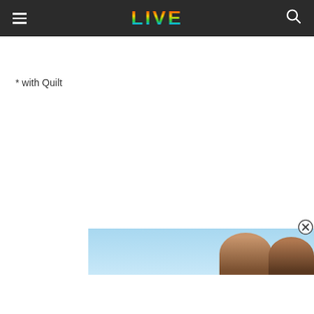LIVE
* with Quilt
[Figure (photo): Advertisement banner showing two people against a sky background with a close button (X circle) in the top right corner]